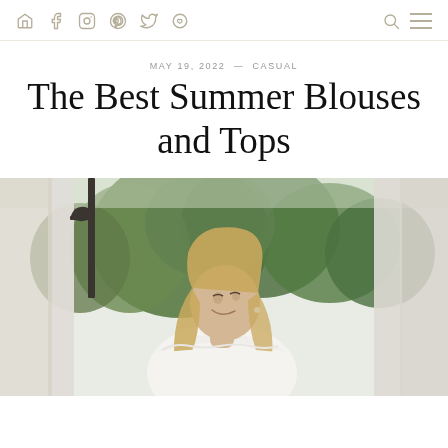Navigation bar with social icons (home, Facebook, Instagram, Pinterest, Twitter, heart) and search/menu icons
MAY 19, 2022  —  CASUAL
The Best Summer Blouses and Tops
[Figure (photo): A smiling blonde woman wearing a white off-shoulder blouse/top, standing outdoors near a column, with green trees in the background]